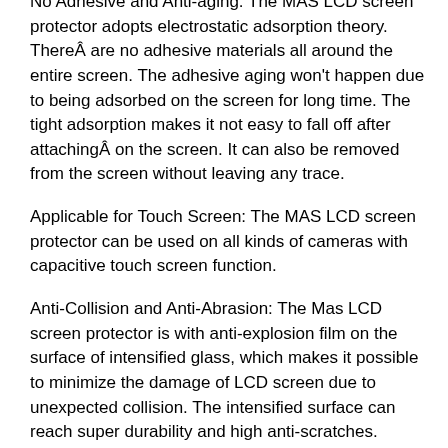No Adhesive and Anti-aging: The MAS LCD screen protector adopts electrostatic adsorption theory. ThereÂ are no adhesive materials all around the entire screen. The adhesive aging won't happen due to being adsorbed on the screen for long time. The tight adsorption makes it not easy to fall off after attachingÂ on the screen. It can also be removed from the screen without leaving any trace.
Applicable for Touch Screen: The MAS LCD screen protector can be used on all kinds of cameras with capacitive touch screen function.
Anti-Collision and Anti-Abrasion: The Mas LCD screen protector is with anti-explosion film on the surface of intensified glass, which makes it possible to minimize the damage of LCD screen due to unexpected collision. The intensified surface can reach super durability and high anti-scratches.
Super Strong Protection: Even when the MAS LCD screen protector is broken, the screen protector still keeps in one unity and never falls into peices. Thus it can ensure the safety of LCD screen and user.
Ultra-Thin and Top Transmittance: The MAS LCD screen